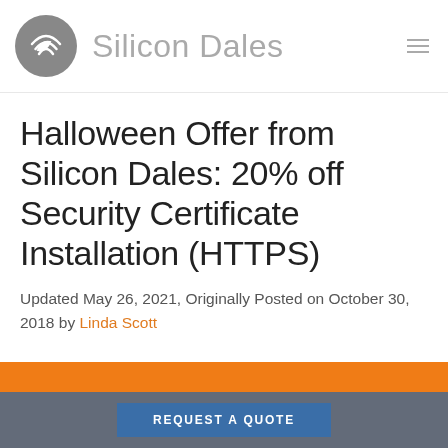Silicon Dales
Halloween Offer from Silicon Dales: 20% off Security Certificate Installation (HTTPS)
Updated May 26, 2021, Originally Posted on October 30, 2018 by Linda Scott